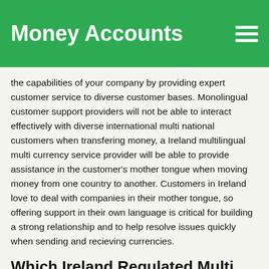Money Accounts
the capabilities of your company by providing expert customer service to diverse customer bases. Monolingual customer support providers will not be able to interact effectively with diverse international multi national customers when transfering money, a Ireland multilingual multi currency service provider will be able to provide assistance in the customer's mother tongue when moving money from one country to another. Customers in Ireland love to deal with companies in their mother tongue, so offering support in their own language is critical for building a strong relationship and to help resolve issues quickly when sending and recieving currencies.
Which Ireland Regulated Multi Currency Service Has The Best Online Banking App?
The Ireland banking mobile application lets you track your spending, transfer money to friends, locate in-network ATMs, and lock your debit cards. In fact, mobile banking is redefining the role of the bank